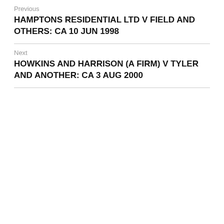Previous
HAMPTONS RESIDENTIAL LTD V FIELD AND OTHERS: CA 10 JUN 1998
Next
HOWKINS AND HARRISON (A FIRM) V TYLER AND ANOTHER: CA 3 AUG 2000